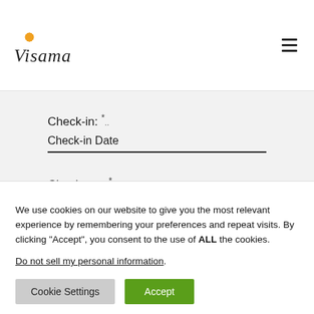[Figure (logo): Visama logo with orange sunburst icon and italic serif wordmark]
Check-in: *
Check-in Date
Check-out: *
Check-out Date
We use cookies on our website to give you the most relevant experience by remembering your preferences and repeat visits. By clicking “Accept”, you consent to the use of ALL the cookies.
Do not sell my personal information.
Cookie Settings
Accept